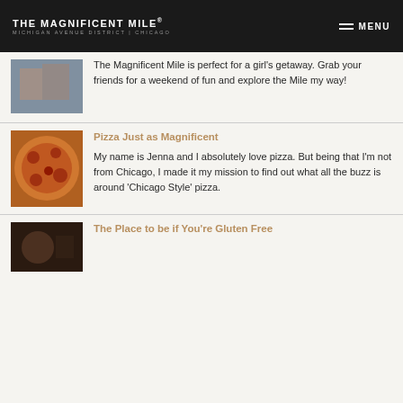THE MAGNIFICENT MILE® MICHIGAN AVENUE DISTRICT | CHICAGO   ≡ MENU
The Magnificent Mile is perfect for a girl's getaway. Grab your friends for a weekend of fun and explore the Mile my way!
Pizza Just as Magnificent
My name is Jenna and I absolutely love pizza. But being that I'm not from Chicago, I made it my mission to find out what all the buzz is around 'Chicago Style' pizza.
The Place to be if You're Gluten Free